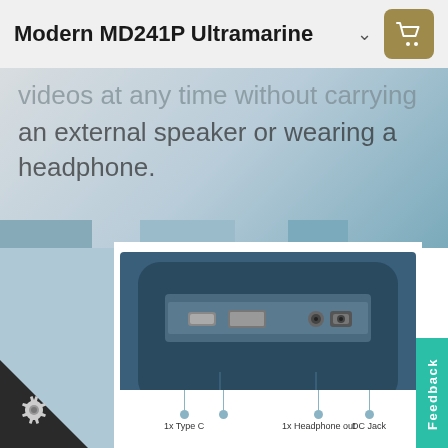Modern MD241P Ultramarine
videos at any time without carrying an external speaker or wearing a headphone.
[Figure (photo): Bottom/back view of the Modern MD241P Ultramarine monitor showing ports including 1x Type C, 1x Headphone out, and DC Jack]
1x Type C   1x Headphone out   DC Jack